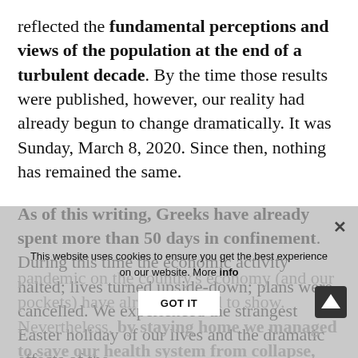reflected the fundamental perceptions and views of the population at the end of a turbulent decade. By the time those results were published, however, our reality had already begun to change dramatically. It was Sunday, March 8, 2020. Since then, nothing has remained the same.
As of this writing, Greeks have already spent more than 50 days in confinement. During this time the economic activity halted; lives turned upside-down; plans were cancelled. We experienced the strangest Easter holiday of our lives and the dramatic effects of the pandemic on the country's economy (and our pockets) have already started to show. Nevertheless, by staying home we managed to save our health system from collapse, save the lives of countless of our fellow citizens, and avoid an unprecedented tragedy similar
This website uses cookies to ensure you get the best experience on our website. More info